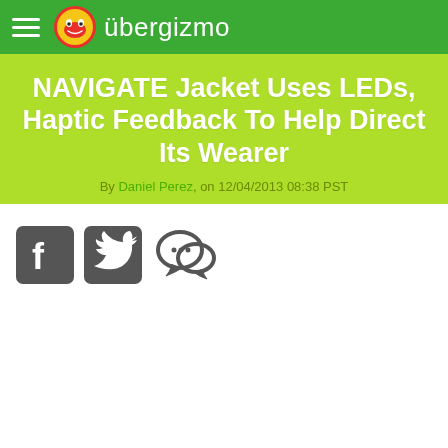übergizmo
NAVIGATE Jacket Uses LEDs, Haptic Feedback To Help Direct Its Wearer
By Daniel Perez, on 12/04/2013 08:38 PST
[Figure (other): Social sharing icons: Facebook, Twitter, and comment/chat bubble icons in dark gray square buttons]